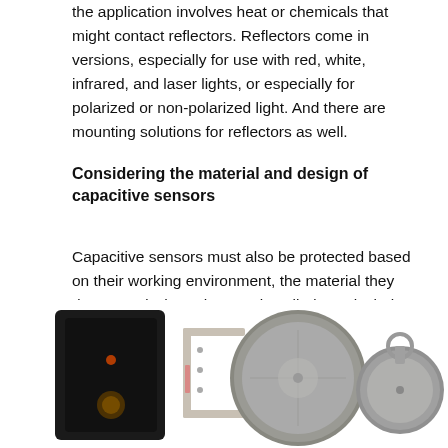the application involves heat or chemicals that might contact reflectors. Reflectors come in versions, especially for use with red, white, infrared, and laser lights, or especially for polarized or non-polarized light. And there are mounting solutions for reflectors as well.
Considering the material and design of capacitive sensors
Capacitive sensors must also be protected based on their working environment, the material they detect, and where they are installed. Particularly, is the sensor in contact with the material it is sensing or not?
[Figure (photo): Four capacitive sensor products: a black square sensor, a metal L-bracket mounting bracket, a round gray reflector disk (large), and a smaller round gray reflector disk with a loop mount.]